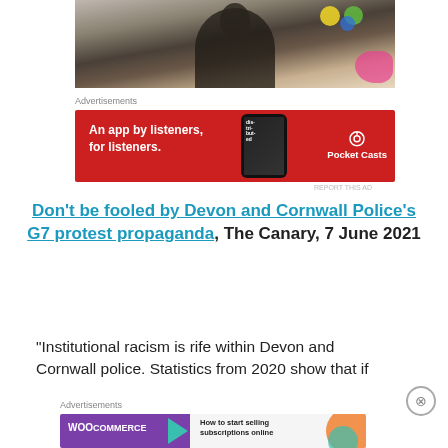[Figure (photo): A man in a dark vest and white t-shirt standing in front of a colorful graffiti wall]
Advertisements
[Figure (other): Pocket Casts advertisement: An app by listeners, for listeners. Red background with phone showing podcast app.]
Don't be fooled by Devon and Cornwall Police's G7 protest propaganda, The Canary, 7 June 2021
“Institutional racism is rife within Devon and Cornwall police. Statistics from 2020 show that if
Advertisements
[Figure (other): WooCommerce advertisement: How to start selling subscriptions online. Purple background with teal arrow logo.]